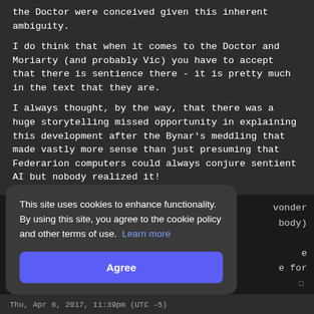the Doctor were conceived given this inherent ambiguity.
I do think that when it comes to the Doctor and Moriarty (and probably Vic) you have to accept that there is sentience there - it is pretty much in the text that they are.
I always thought, by the way, that there was a huge storytelling missed opportunity in explaining this development after the Bynar's meddling that made vastly more sense than just presuming that Federarion computers could always conjure sentient AI but nobody realized it!
wonder
body)
e
e for
This site uses cookies to enhance functionality. By using this site, you agree to the cookie policy and other terms of use. Learn more
Agree
Thu, Apr 6, 2017, 11:39pm (UTC -5)